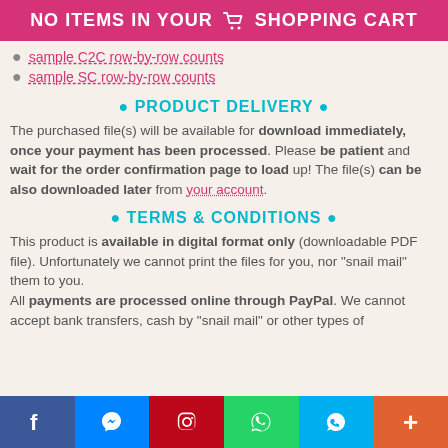NO ITEMS IN YOUR SHOPPING CART
sample C2C row-by-row counts
sample SC row-by-row counts
• PRODUCT DELIVERY •
The purchased file(s) will be available for download immediately, once your payment has been processed. Please be patient and wait for the order confirmation page to load up! The file(s) can be also downloaded later from your account.
• TERMS & CONDITIONS •
This product is available in digital format only (downloadable PDF file). Unfortunately we cannot print the files for you, nor "snail mail" them to you. All payments are processed online through PayPal. We cannot accept bank transfers, cash by "snail mail" or other types of
Social share buttons: Facebook, Messenger, Pinterest, WhatsApp, Skype, More